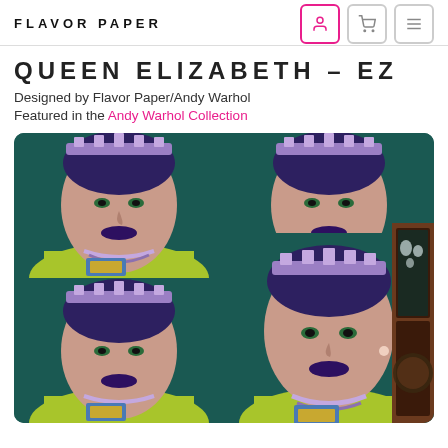FLAVOR PAPER
QUEEN ELIZABETH - EZ
Designed by Flavor Paper/Andy Warhol
Featured in the Andy Warhol Collection
[Figure (photo): Andy Warhol-style pop art wallpaper featuring multiple repeated portraits of Queen Elizabeth II in teal, lime green, pink, and blue colorways, installed on a dining room wall next to a dark wood china cabinet]